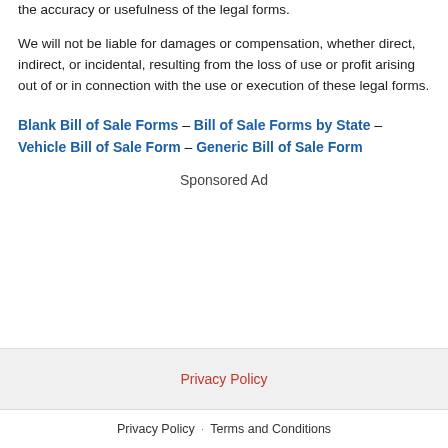the accuracy or usefulness of the legal forms.
We will not be liable for damages or compensation, whether direct, indirect, or incidental, resulting from the loss of use or profit arising out of or in connection with the use or execution of these legal forms.
Blank Bill of Sale Forms – Bill of Sale Forms by State – Vehicle Bill of Sale Form – Generic Bill of Sale Form
Sponsored Ad
Privacy Policy
Privacy Policy · Terms and Conditions